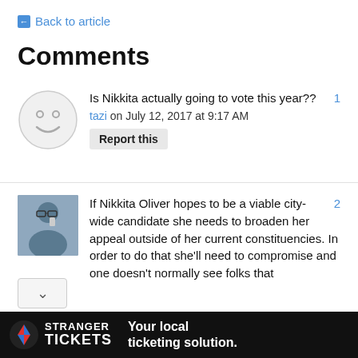← Back to article
Comments
Is Nikkita actually going to vote this year?? 1
tazi on July 12, 2017 at 9:17 AM
Report this
If Nikkita Oliver hopes to be a viable city-wide candidate she needs to broaden her appeal outside of her current constituencies. In order to do that she'll need to compromise and one doesn't normally see folks that 2
[Figure (infographic): Stranger Tickets advertisement banner: dark background with Stranger Tickets logo (red/blue S) and text 'STRANGER TICKETS · Your local ticketing solution.']